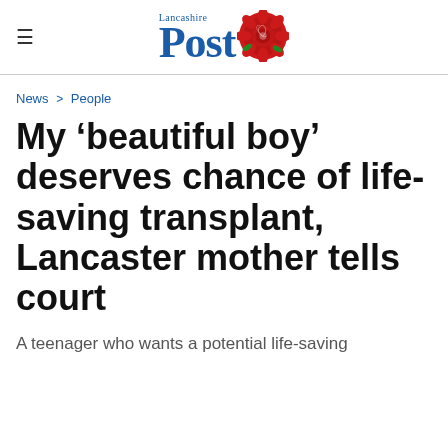Lancashire Post
News > People
My ‘beautiful boy’ deserves chance of life-saving transplant, Lancaster mother tells court
A teenager who wants a potential life-saving